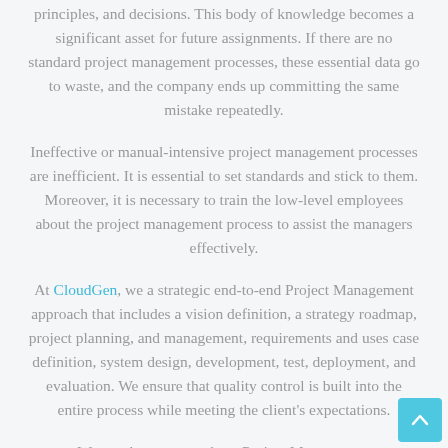principles, and decisions. This body of knowledge becomes a significant asset for future assignments. If there are no standard project management processes, these essential data go to waste, and the company ends up committing the same mistake repeatedly.
Ineffective or manual-intensive project management processes are inefficient. It is essential to set standards and stick to them. Moreover, it is necessary to train the low-level employees about the project management process to assist the managers effectively.
At CloudGen, we a strategic end-to-end Project Management approach that includes a vision definition, a strategy roadmap, project planning, and management, requirements and uses case definition, system design, development, test, deployment, and evaluation. We ensure that quality control is built into the entire process while meeting the client's expectations.
Want to know more about Project Management